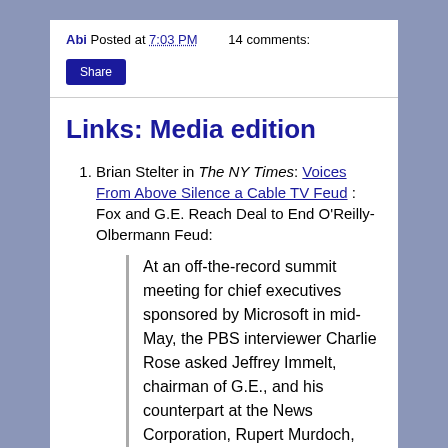Abi Posted at 7:03 PM   14 comments:
[Figure (other): A dark blue Share button]
Links: Media edition
Brian Stelter in The NY Times: Voices From Above Silence a Cable TV Feud : Fox and G.E. Reach Deal to End O'Reilly-Olbermann Feud:
At an off-the-record summit meeting for chief executives sponsored by Microsoft in mid-May, the PBS interviewer Charlie Rose asked Jeffrey Immelt, chairman of G.E., and his counterpart at the News Corporation, Rupert Murdoch,